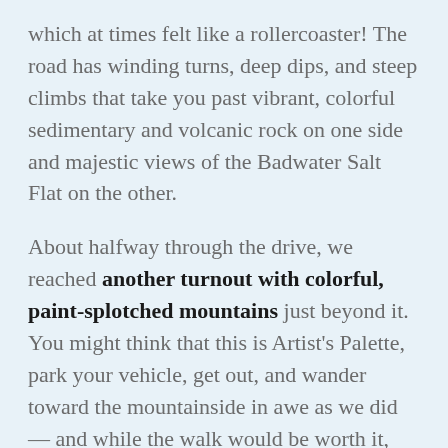which at times felt like a rollercoaster! The road has winding turns, deep dips, and steep climbs that take you past vibrant, colorful sedimentary and volcanic rock on one side and majestic views of the Badwater Salt Flat on the other.
About halfway through the drive, we reached another turnout with colorful, paint-splotched mountains just beyond it. You might think that this is Artist's Palette, park your vehicle, get out, and wander toward the mountainside in awe as we did — and while the walk would be worth it, the actual Artist's Palette is just ahead, around the next turn. You can't mistake it because there are always tons of people milling about taking photos.